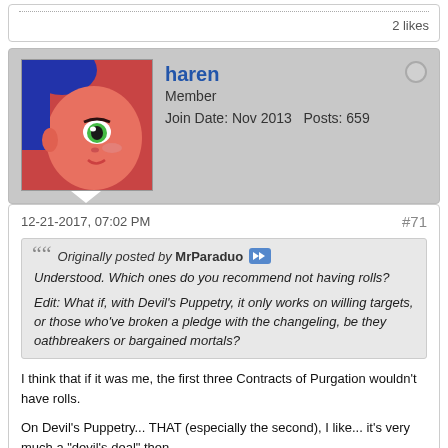2 likes
haren
Member
Join Date: Nov 2013   Posts: 659
12-21-2017, 07:02 PM
#71
Originally posted by MrParaduo
Understood. Which ones do you recommend not having rolls?
Edit: What if, with Devil's Puppetry, it only works on willing targets, or those who've broken a pledge with the changeling, be they oathbreakers or bargained mortals?
I think that if it was me, the first three Contracts of Purgation wouldn't have rolls.

On Devil's Puppetry... THAT (especially the second), I like... it's very much a "devil's deal" then.